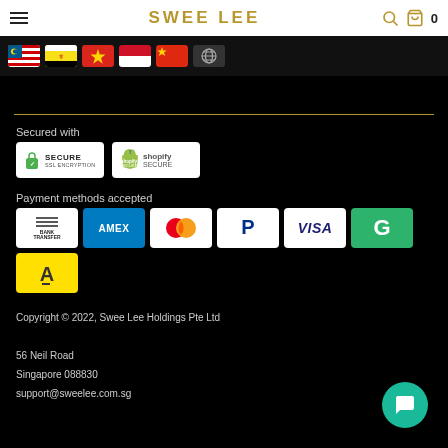SWEE LEE
[Figure (illustration): Country flag icons: Malaysia, Brunei, Vietnam, Indonesia, China, and a globe icon]
Secured with
[Figure (illustration): SSL Secure encryption badge and Shopify Secure badge]
Payment methods accepted
[Figure (illustration): Payment method icons: Bank Transfer, AMEX, Mastercard, PayPal, VISA, GrabPay, Atome]
Copyright © 2022, Swee Lee Holdings Pte Ltd
56 Neil Road
Singapore 088830
support@sweelee.com.sg